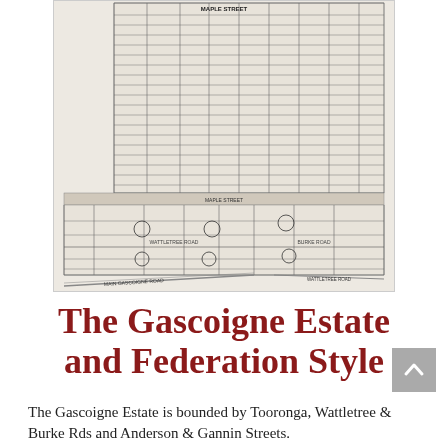[Figure (map): A scanned historical subdivision map of the Gascoigne Estate showing land lots arranged in a grid, bounded by streets including Tooronga, Wattletree and Burke Roads. The map is in black and white with small lot numbers and street labels visible.]
The Gascoigne Estate and Federation Style
The Gascoigne Estate is bounded by Tooronga, Wattletree & Burke Rds and Anderson & Gannin Streets.